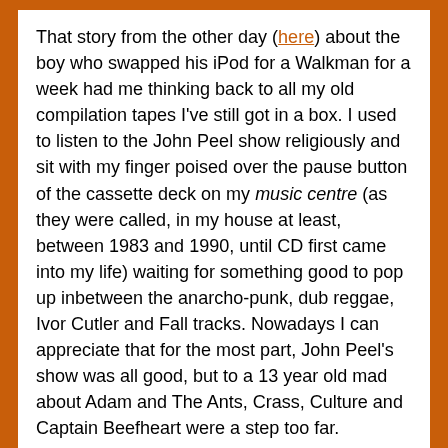That story from the other day (here) about the boy who swapped his iPod for a Walkman for a week had me thinking back to all my old compilation tapes I've still got in a box. I used to listen to the John Peel show religiously and sit with my finger poised over the pause button of the cassette deck on my music centre (as they were called, in my house at least, between 1983 and 1990, until CD first came into my life) waiting for something good to pop up inbetween the anarcho-punk, dub reggae, Ivor Cutler and Fall tracks. Nowadays I can appreciate that for the most part, John Peel's show was all good, but to a 13 year old mad about Adam and The Ants, Crass, Culture and Captain Beefheart were a step too far.
By the end of the 80s I was a dab hand at recording entire Peel Sessions. If I was lucky I'd pause it just